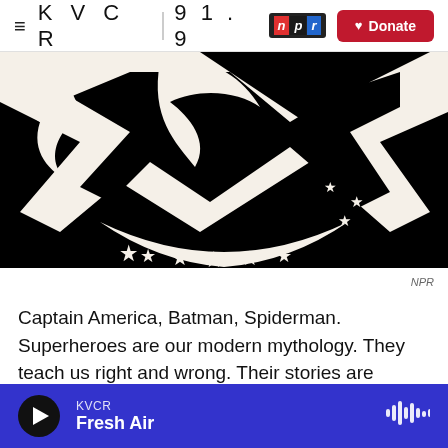≡ KVCR 91.9 npr | Donate
[Figure (illustration): Black and white superhero logo with stars, DC Comics style graphic on black background]
NPR
Captain America, Batman, Spiderman. Superheroes are our modern mythology. They teach us right and wrong. Their stories are handed down, many written before we were born. But these American Gods and Goddesses are property
KVCR Fresh Air